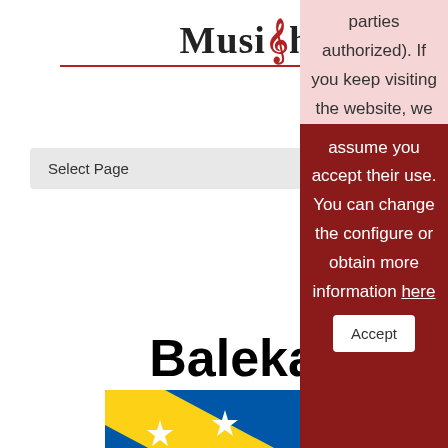[Figure (logo): MusiGhess logo with treble clef symbol and decorative underline]
Select Page
Balekana, Pana (1929-2009)
[Figure (photo): Solomon Islands flag with blue and green triangles, yellow diagonal stripe, and white stars]
parties authorized). If you keep visiting the website, we assume you accept their use. You can change the configure or obtain more information here
Accept